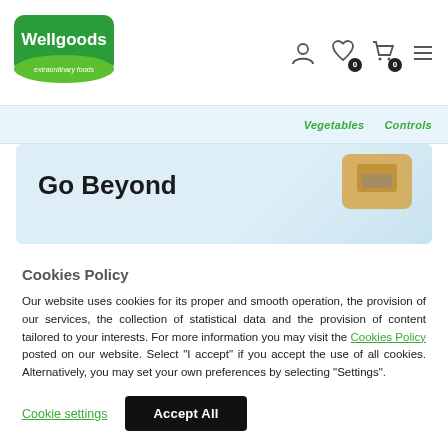[Figure (logo): Wellgoods logo — green rounded rectangle with white text 'Wellgoods' and tagline 'extraordinary foods']
[Figure (screenshot): Navigation icons: user account, wishlist (heart with badge 0), cart (with badge 0), hamburger menu]
Vegetables   Controls
[Figure (screenshot): Hero banner with text 'Go Beyond' and a product image on right side]
Cookies Policy
Our website uses cookies for its proper and smooth operation, the provision of our services, the collection of statistical data and the provision of content tailored to your interests. For more information you may visit the Cookies Policy posted on our website. Select "I accept" if you accept the use of all cookies. Alternatively, you may set your own preferences by selecting "Settings".
Cookie settings
Accept All